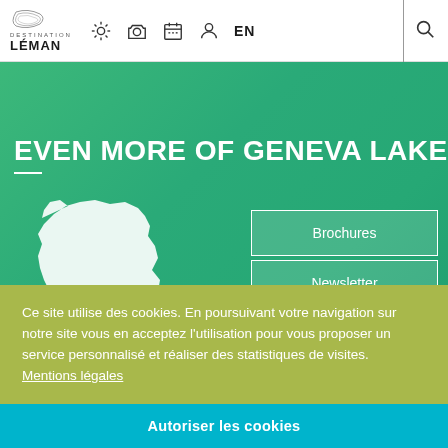Destination Leman – navigation header with logo, icons, EN, and search
EVEN MORE OF GENEVA LAKE
[Figure (illustration): White silhouette map of France on green background, with purple circle badge labeled ICI marking a location in southeast France]
Brochures
Newsletter
Ce site utilise des cookies. En poursuivant votre navigation sur notre site vous en acceptez l'utilisation pour vous proposer un service personnalisé et réaliser des statistiques de visites.  Mentions légales
Autoriser les cookies